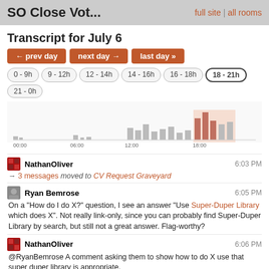SO Close Vot...    full site | all rooms
Transcript for July 6
← prev day
next day →
last day »
0 - 9h  9 - 12h  12 - 14h  14 - 16h  16 - 18h  18 - 21h  21 - 0h
[Figure (histogram): Message activity]
NathanOliver  6:03 PM
→ 3 messages moved to CV Request Graveyard
Ryan Bemrose  6:05 PM
On a "How do I do X?" question, I see an answer "Use Super-Duper Library which does X". Not really link-only, since you can probably find Super-Duper Library by search, but still not a great answer. Flag-worthy?
NathanOliver  6:06 PM
@RyanBemrose A comment asking them to show how to do X use that super duper library is appropriate.
Tunaki  6:08 PM
@SotiriosDelimanolis You were writing an answer?
I had one too :D, citing docs and all. Finally found that dupe.